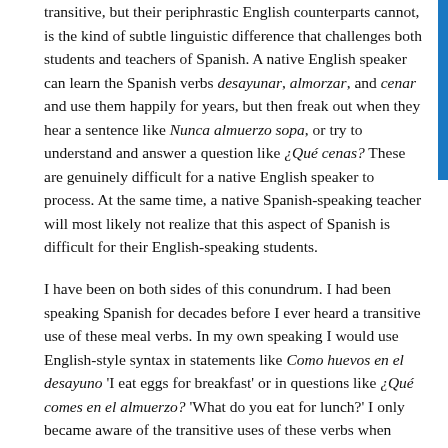transitive, but their periphrastic English counterparts cannot, is the kind of subtle linguistic difference that challenges both students and teachers of Spanish. A native English speaker can learn the Spanish verbs desayunar, almorzar, and cenar and use them happily for years, but then freak out when they hear a sentence like Nunca almuerzo sopa, or try to understand and answer a question like ¿Qué cenas? These are genuinely difficult for a native English speaker to process. At the same time, a native Spanish-speaking teacher will most likely not realize that this aspect of Spanish is difficult for their English-speaking students.
I have been on both sides of this conundrum. I had been speaking Spanish for decades before I ever heard a transitive use of these meal verbs. In my own speaking I would use English-style syntax in statements like Como huevos en el desayuno 'I eat eggs for breakfast' or in questions like ¿Qué comes en el almuerzo? 'What do you eat for lunch?' I only became aware of the transitive uses of these verbs when...